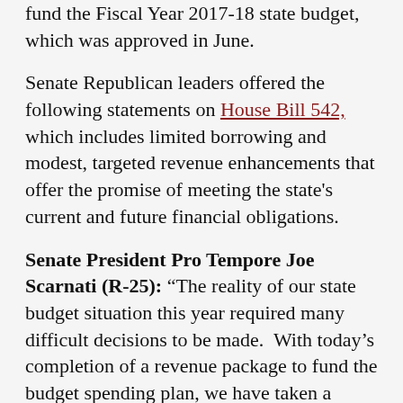fund the Fiscal Year 2017-18 state budget, which was approved in June.
Senate Republican leaders offered the following statements on House Bill 542, which includes limited borrowing and modest, targeted revenue enhancements that offer the promise of meeting the state's current and future financial obligations.
Senate President Pro Tempore Joe Scarnati (R-25): “The reality of our state budget situation this year required many difficult decisions to be made.  With today’s completion of a revenue package to fund the budget spending plan, we have taken a responsible step forward to set our Commonwealth on solid financial footing.”
Senate Majority Leader Jake Corman (R-